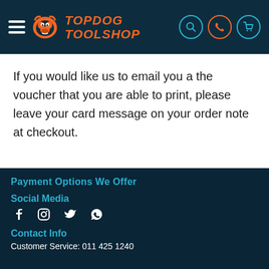TOPDOG TOOLSHOP
If you would like us to email you a the voucher that you are able to print, please leave your card message on your order note at checkout.
Payment Options We Offer
Social Media
[Figure (infographic): Social media icons: Facebook, Instagram, Twitter, WhatsApp]
Contact Info
Customer Service: 011 425 1240